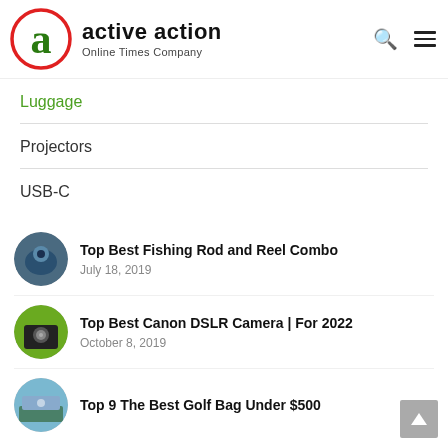active action — Online Times Company
Luggage
Projectors
USB-C
Top Best Fishing Rod and Reel Combo
July 18, 2019
Top Best Canon DSLR Camera | For 2022
October 8, 2019
Top 9 The Best Golf Bag Under $500